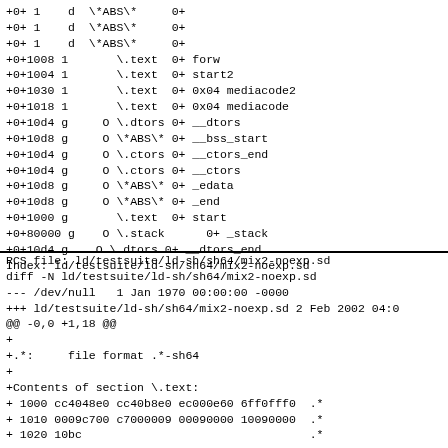+0+ 1    d  \*ABS\*     0+
+0+ 1    d  \*ABS\*     0+
+0+ 1    d  \*ABS\*     0+
+0+1008 1       \.text  0+ forw
+0+1004 1       \.text  0+ start2
+0+1030 1       \.text  0+ 0x04 mediacode2
+0+1018 1       \.text  0+ 0x04 mediacode
+0+10d4 g     O \.dtors 0+ __dtors
+0+10d8 g     O \*ABS\* 0+ __bss_start
+0+10d4 g     O \.ctors 0+ __ctors_end
+0+10d4 g     O \.ctors 0+ __ctors
+0+10d8 g     O \*ABS\* 0+ _edata
+0+10d8 g     O \*ABS\* 0+ _end
+0+1000 g       \.text  0+ start
+0+80000 g    O \.stack      0+ _stack
+0+10d4 g    O \.dtors 0+ __dtors_end
Index: ld/testsuite/ld-sh/sh64/mix2-noexp.sd
RCS file: ld/testsuite/ld-sh/sh64/mix2-noexp.sd
diff -N ld/testsuite/ld-sh/sh64/mix2-noexp.sd
--- /dev/null   1 Jan 1970 00:00:00 -0000
+++ ld/testsuite/ld-sh/sh64/mix2-noexp.sd 2 Feb 2002 04:0
@@ -0,0 +1,18 @@
+
+.*:     file format .*-sh64
+
+Contents of section \.text:
+ 1000 cc4048e0 cc40b8e0 ec000e60 6ff0fff0  .*
+ 1010 0009c700 c7000009 00090000 10090000  .*
+ 1020 10bc                                 .*